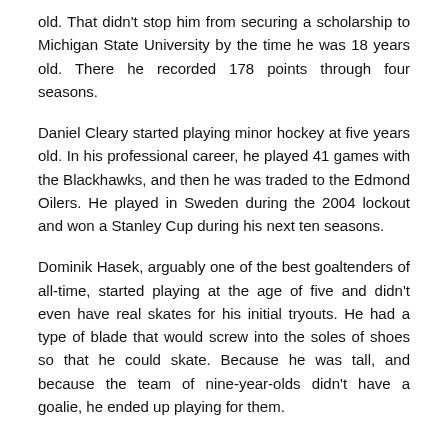old. That didn't stop him from securing a scholarship to Michigan State University by the time he was 18 years old. There he recorded 178 points through four seasons.
Daniel Cleary started playing minor hockey at five years old. In his professional career, he played 41 games with the Blackhawks, and then he was traded to the Edmond Oilers. He played in Sweden during the 2004 lockout and won a Stanley Cup during his next ten seasons.
Dominik Hasek, arguably one of the best goaltenders of all-time, started playing at the age of five and didn't even have real skates for his initial tryouts. He had a type of blade that would screw into the soles of shoes so that he could skate. Because he was tall, and because the team of nine-year-olds didn't have a goalie, he ended up playing for them.